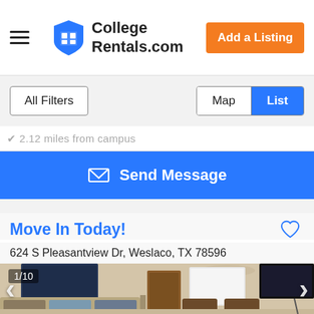College Rentals.com | Add a Listing
All Filters | Map | List
2.12 miles from campus
Send Message
Move In Today!
624 S Pleasantview Dr, Weslaco, TX 78596
[Figure (photo): Interior photo of a furnished living room with a sofa, wall art, ceiling fan, wooden door, TV, and chairs. Image counter shows 1/10.]